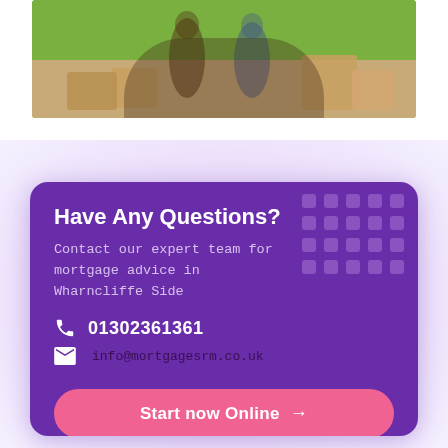[Figure (photo): Photo of people moving boxes outdoors on a driveway with green lawn background]
Have Any Questions?
Contact our expert team for mortgage advice in Wharncliffe Side
01302361361
info@mortgagesrm.co.uk
Start now Online →